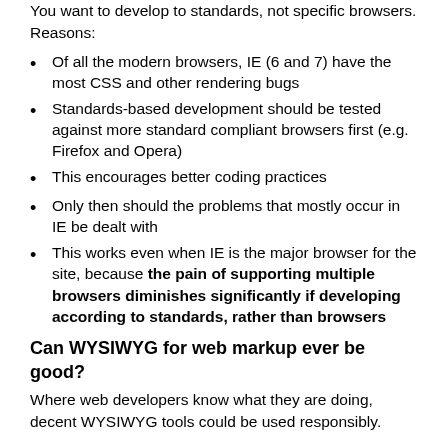You want to develop to standards, not specific browsers. Reasons:
Of all the modern browsers, IE (6 and 7) have the most CSS and other rendering bugs
Standards-based development should be tested against more standard compliant browsers first (e.g. Firefox and Opera)
This encourages better coding practices
Only then should the problems that mostly occur in IE be dealt with
This works even when IE is the major browser for the site, because the pain of supporting multiple browsers diminishes significantly if developing according to standards, rather than browsers
Can WYSIWYG for web markup ever be good?
Where web developers know what they are doing, decent WYSIWYG tools could be used responsibly.